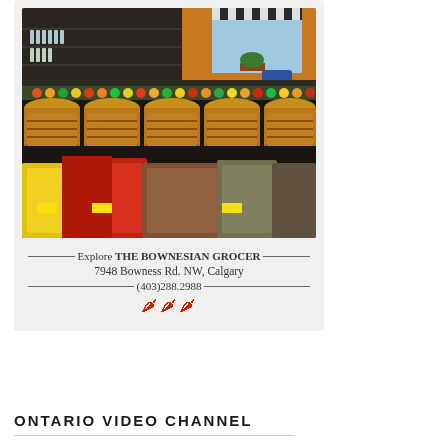[Figure (photo): Interior of The Bownesian Grocer store showing shelves with products, wooden barrel displays, and colorful bags of snacks/chips in the foreground. Orange-painted walls visible in background with striped awning over window.]
Explore THE BOWNESIAN GROCER
7948 Bowness Rd. NW, Calgary
(403)288.2988
ONTARIO VIDEO CHANNEL